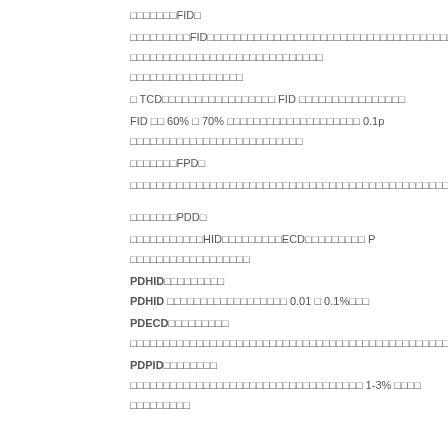□□□□□□□FID□
□□□□□□□□□FID□□□□□□□□□□□□□□□□□□□□□□□□□□□□□□□□□□□□□
□□□□□□□□□□□□□□□□□□□□□□□□□□□□□
□□□□□□□□□□□□□□□□□
□ TCD□□□□□□□□□□□□□□□□□ FID □□□□□□□□□□□□□□□□
FID □□ 60% □ 70% □□□□□□□□□□□□□□□□□□□□ 0.1p
□□□□□□□□□□□□□□□□□□□□□□□□□□
□□□□□□□FPD□
□□□□□□□□□□□□□□□□□□□□□□□□□□□□□□□□□□□□□□□□□□□□□□□□□
□□□□□□□PDD□
□□□□□□□□□□□HID□□□□□□□□□ECD□□□□□□□□□ P
□□□□□□□□□□□□□□□□□□
PDHID□□□□□□□□□
PDHID □□□□□□□□□□□□□□□□□□ 0.01 □ 0.1%□□□
PDECD□□□□□□□□□
□□□□□□□□□□□□□□□□□□□□□□□□□□□□□□□□□□□□□□□□□□□□□□□□□
PDPID□□□□□□□□
□□□□□□□□□□□□□□□□□□□□□□□□□□□□□□□□□□□ 1-3% □□□□
□□□□□□□□□